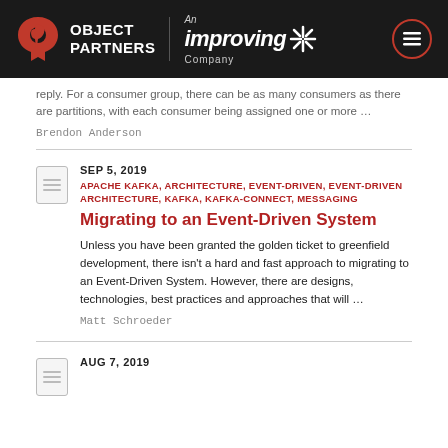Object Partners — An Improving Company
...reply. For a consumer group, there can be as many consumers as there are partitions, with each consumer being assigned one or more ...
Brendon Anderson
SEP 5, 2019
APACHE KAFKA, ARCHITECTURE, EVENT-DRIVEN, EVENT-DRIVEN ARCHITECTURE, KAFKA, KAFKA-CONNECT, MESSAGING
Migrating to an Event-Driven System
Unless you have been granted the golden ticket to greenfield development, there isn't a hard and fast approach to migrating to an Event-Driven System. However, there are designs, technologies, best practices and approaches that will ...
Matt Schroeder
AUG 7, 2019